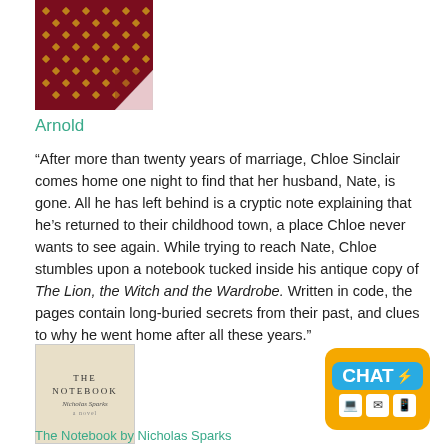[Figure (photo): Book cover of a novel with dark red/maroon background and gold ornamental patterns, with a page curl at the bottom right corner revealing white underneath]
Arnold
“After more than twenty years of marriage, Chloe Sinclair comes home one night to find that her husband, Nate, is gone. All he has left behind is a cryptic note explaining that he’s returned to their childhood town, a place Chloe never wants to see again. While trying to reach Nate, Chloe stumbles upon a notebook tucked inside his antique copy of The Lion, the Witch and the Wardrobe. Written in code, the pages contain long-buried secrets from their past, and clues to why he went home after all these years.”
[Figure (photo): Book cover of The Notebook by Nicholas Sparks - cream/off-white cover with title and author name in serif font]
[Figure (logo): CHAT badge/logo with blue speech bubble containing CHAT text with lightning bolt, on an orange/yellow rounded rectangle background, with three small icon boxes at the bottom]
The Notebook by Nicholas Sparks